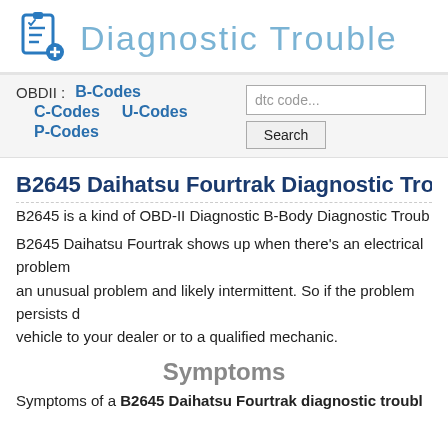Diagnostic Trouble
OBDII : B-Codes C-Codes U-Codes P-Codes
B2645 Daihatsu Fourtrak Diagnostic Trouble Co
B2645 is a kind of OBD-II Diagnostic B-Body Diagnostic Troub
B2645 Daihatsu Fourtrak shows up when there's an electrical problem an unusual problem and likely intermittent. So if the problem persists d vehicle to your dealer or to a qualified mechanic.
Symptoms
Symptoms of a B2645 Daihatsu Fourtrak diagnostic troubl